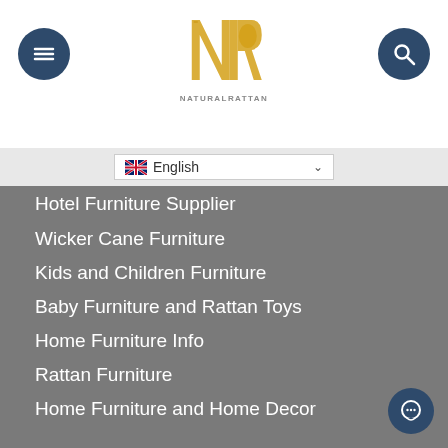NR Natural Rattan logo with menu and search buttons
English language selector
Hotel Furniture Supplier
Wicker Cane Furniture
Kids and Children Furniture
Baby Furniture and Rattan Toys
Home Furniture Info
Rattan Furniture
Home Furniture and Home Decor
RECENT POST
Best Kids Rattan Furniture Collections
Round and Stylish, Tracey Rattan Doll Crib